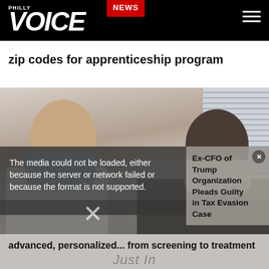PHILLY VOICE | NEWS
zip codes for apprenticeship program
[Figure (photo): Two people wearing face masks facing each other indoors, one in a white coat on the left, one in dark clothing on the right, with window blinds visible in the background.]
The media could not be loaded, either because the server or network failed or because the format is not supported.
Ex-CFO of Trump Organization Pleads Guilty in Tax Evasion Case
advanced, personalized... from screening to treatment
Just In